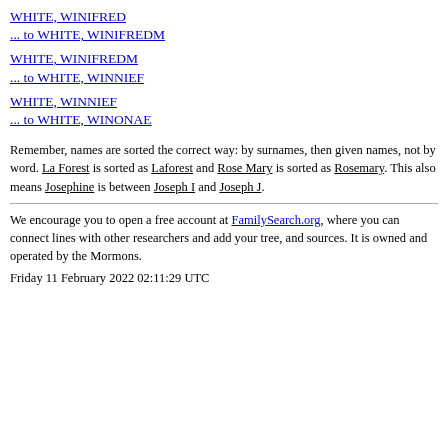WHITE, WINIFRED
... to WHITE, WINIFREDM
WHITE, WINIFREDM
... to WHITE, WINNIEF
WHITE, WINNIEF
... to WHITE, WINONAE
Remember, names are sorted the correct way: by surnames, then given names, not by word. La Forest is sorted as Laforest and Rose Mary is sorted as Rosemary. This also means Josephine is between Joseph I and Joseph J.
We encourage you to open a free account at FamilySearch.org, where you can connect lines with other researchers and add your tree, and sources. It is owned and operated by the Mormons.
Friday 11 February 2022 02:11:29 UTC